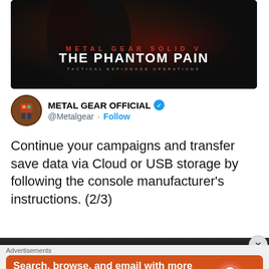[Figure (screenshot): Metal Gear Solid V: The Phantom Pain game cover/promo image with dark background, showing the title text 'METAL GEAR SOLID V THE PHANTOM PAIN - TACTICAL ESPIONAGE OPERATIONS']
METAL GEAR OFFICIAL @Metalgear · Follow
Continue your campaigns and transfer save data via Cloud or USB storage by following the console manufacturer's instructions. (2/3)
[Figure (screenshot): DuckDuckGo advertisement banner with orange background. Text: 'Search, browse, and email with more privacy. All in One Free App' with DuckDuckGo logo and duck icon on the right. Gray 'Advertisements' label above.]